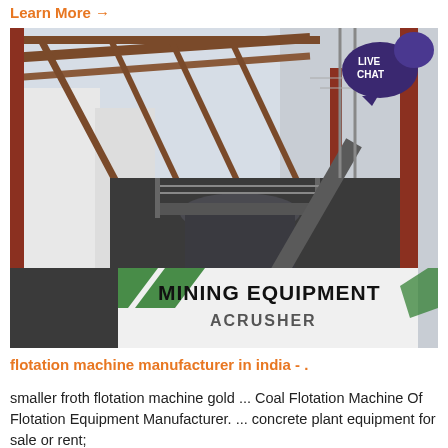Learn More →
[Figure (photo): Industrial mining equipment facility showing large crushers and conveyor structures made of steel with a sign reading 'MINING EQUIPMENT ACRUSHER' in the foreground. A 'LIVE CHAT' speech bubble badge is visible in the upper right corner of the image.]
flotation machine manufacturer in india - .
smaller froth flotation machine gold ... Coal Flotation Machine Of Flotation Equipment Manufacturer. ... concrete plant equipment for sale or rent;